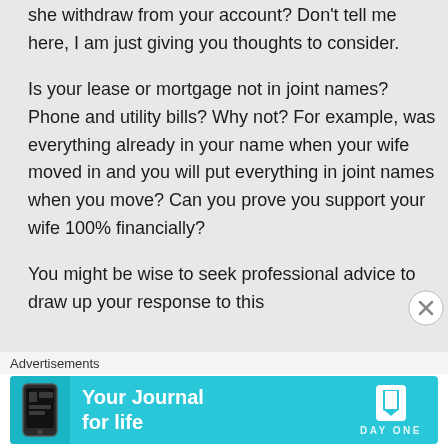she withdraw from your account? Don't tell me here, I am just giving you thoughts to consider.
Is your lease or mortgage not in joint names? Phone and utility bills? Why not? For example, was everything already in your name when your wife moved in and you will put everything in joint names when you move? Can you prove you support your wife 100% financially?
You might be wise to seek professional advice to draw up your response to this
Advertisements
[Figure (infographic): Advertisement banner for Day One journal app with cyan background, phone graphic on left, text 'Your Journal for life' in center, Day One logo on right]